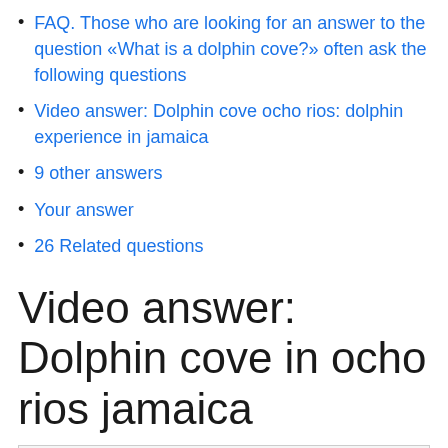FAQ. Those who are looking for an answer to the question «What is a dolphin cove?» often ask the following questions
Video answer: Dolphin cove ocho rios: dolphin experience in jamaica
9 other answers
Your answer
26 Related questions
Video answer: Dolphin cove in ocho rios jamaica
[Figure (screenshot): Video player or image box at bottom of page, mostly empty/gray]